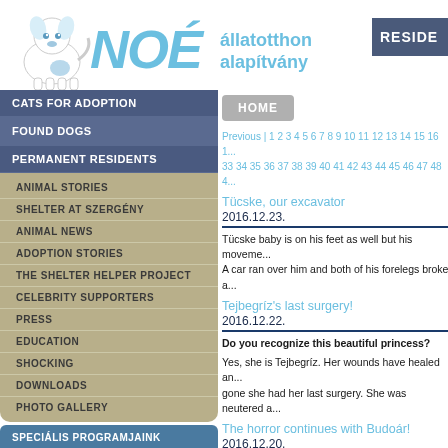[Figure (logo): NOÉ állatotthon alapítvány logo with dog illustration and blue text]
RESIDE
CATS FOR ADOPTION
FOUND DOGS
PERMANENT RESIDENTS
ANIMAL STORIES
SHELTER AT SZERGÉNY
ANIMAL NEWS
ADOPTION STORIES
THE SHELTER HELPER PROJECT
CELEBRITY SUPPORTERS
PRESS
EDUCATION
SHOCKING
DOWNLOADS
PHOTO GALLERY
SPECIÁLIS PROGRAMJAINK
HOME
Previous | 1 2 3 4 5 6 7 8 9 10 11 12 13 14 15 16 1... 33 34 35 36 37 38 39 40 41 42 43 44 45 46 47 48 4...
Tücske, our excavator
2016.12.23.
Tücske baby is on his feet as well but his moveme... A car ran over him and both of his forelegs broke a...
Tejbegríz's last surgery!
2016.12.22.
Do you recognize this beautiful princess?
Yes, she is Tejbegríz. Her wounds have healed an... gone she had her last surgery. She was neutered a...
The horror continues with Budoár!
2016.12.20.
Budoár's whole body, eyes, ears are leaking purule... She was found in Törökszentmiklós. There are no... Piri we saw it all. Unfortunately we didn't. The cond...